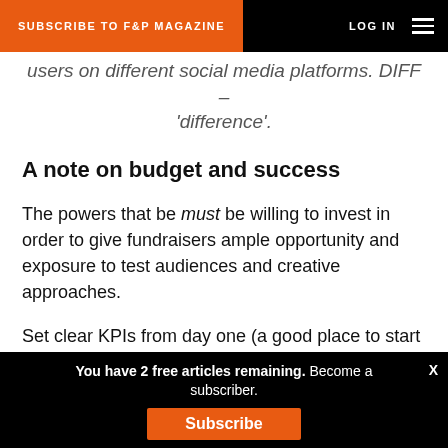SUBSCRIBE TO F&P MAGAZINE | LOG IN
users on different social media platforms. DIFF – 'difference'.
A note on budget and success
The powers that be must be willing to invest in order to give fundraisers ample opportunity and exposure to test audiences and creative approaches.
Set clear KPIs from day one (a good place to start is aiming to beat your offline metrics – such as cost per acquisition for face-to-face fundraising), but don't expect to achieve them straight away – optimisation takes time. Don't give up too soon! There may be dips
You have 2 free articles remaining. Become a subscriber. Subscribe